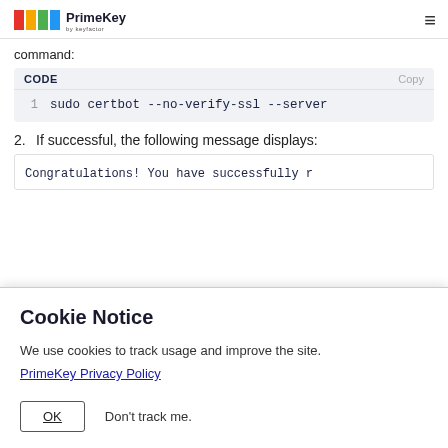PrimeKey by Keyfactor
command:
CODE
1   sudo certbot --no-verify-ssl --server
2.  If successful, the following message displays:
Congratulations! You have successfully r
Cookie Notice
We use cookies to track usage and improve the site.
PrimeKey Privacy Policy
OK    Don't track me.